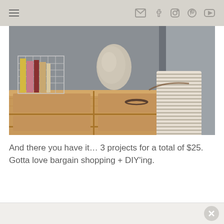Navigation header with menu icon and social media icons (email, facebook, instagram, pinterest, youtube)
[Figure (photo): A wooden dresser/nightstand with a wire basket holding books, a round stone vase, and a striped pillow in the background against a grey wall]
And there you have it… 3 projects for a total of $25. Gotta love bargain shopping + DIY'ing.
Advertisement close button